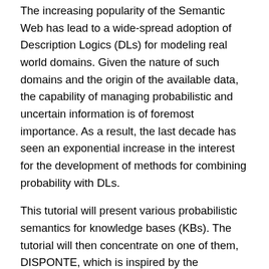The increasing popularity of the Semantic Web has lead to a wide-spread adoption of Description Logics (DLs) for modeling real world domains. Given the nature of such domains and the origin of the available data, the capability of managing probabilistic and uncertain information is of foremost importance. As a result, the last decade has seen an exponential increase in the interest for the development of methods for combining probability with DLs.
This tutorial will present various probabilistic semantics for knowledge bases (KBs). The tutorial will then concentrate on one of them, DISPONTE, which is inspired by the distribution semantics of Probabilistic Logic Programming. The tutorial will also describe approaches and algorithms to reason upon probabilistic knowledge bases. An overview of the major systems will be provided and three reasoners and two learning algorithms for the DISPONTE semantics will be presented more in details. BUNDLE and